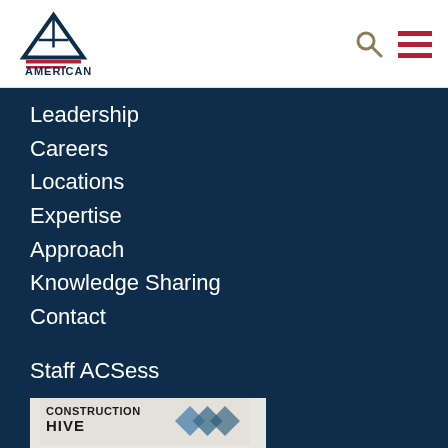[Figure (logo): American Engineering Testing logo — triangle/mountain mark with red stripe, company name in dark navy text]
Leadership
Careers
Locations
Expertise
Approach
Knowledge Sharing
Contact
Staff ACSess
Client Login
[Figure (logo): Construction Hive logo — partial view showing company name and geometric chevron marks in blue/gray]